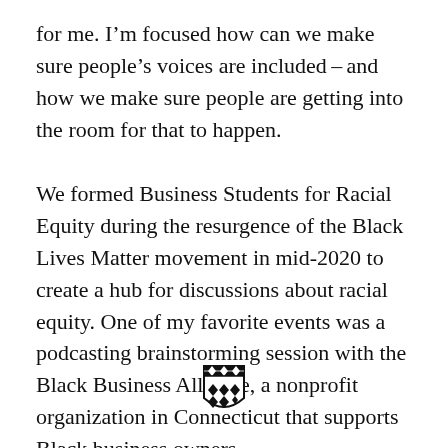for me. I'm focused how can we make sure people's voices are included – and how we make sure people are getting into the room for that to happen.
We formed Business Students for Racial Equity during the resurgence of the Black Lives Matter movement in mid-2020 to create a hub for discussions about racial equity. One of my favorite events was a podcasting brainstorming session with the Black Business Alliance, a nonprofit organization in Connecticut that supports Black business owners.
[Figure (logo): Yale shield/crest logo in black and white]